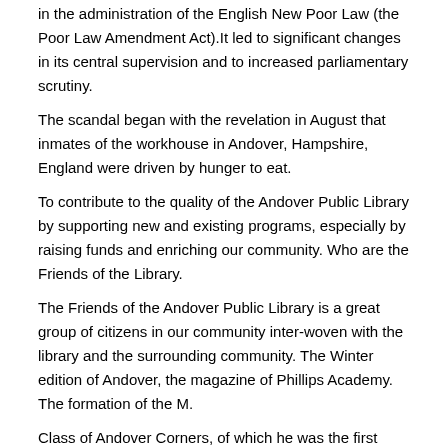in the administration of the English New Poor Law (the Poor Law Amendment Act).It led to significant changes in its central supervision and to increased parliamentary scrutiny.
The scandal began with the revelation in August that inmates of the workhouse in Andover, Hampshire, England were driven by hunger to eat.
To contribute to the quality of the Andover Public Library by supporting new and existing programs, especially by raising funds and enriching our community. Who are the Friends of the Library.
The Friends of the Andover Public Library is a great group of citizens in our community inter-woven with the library and the surrounding community. The Winter edition of Andover, the magazine of Phillips Academy. The formation of the M.
Class of Andover Corners, of which he was the first leader, occurred in that year. On the pages of the class-book for are found the names of Jason, Ebenezer, Sophia, Gratie and Mrs. Hunt, William and Mary Hardy, John and Cynthia Baker, Judah Hawkins and wife.